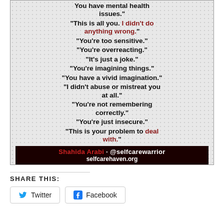[Figure (infographic): Infographic listing gaslighting phrases in bold black text on a speckled grey background. Phrases include: 'You have mental health issues.', 'This is all you. I didn't do anything wrong.', 'You're too sensitive.', 'You're overreacting.', 'It's just a joke.', 'You're imagining things.', 'You have a vivid imagination.', 'I didn't abuse or mistreat you at all.', 'You're not remembering correctly.', 'You're just insecure.', 'This is your problem to deal with.' Attribution at bottom: Shahida Arabi · @selfcarewarrior selfcarehaven.org]
SHARE THIS:
Twitter  Facebook